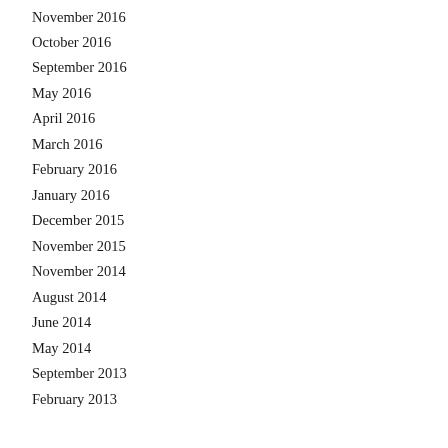November 2016
October 2016
September 2016
May 2016
April 2016
March 2016
February 2016
January 2016
December 2015
November 2015
November 2014
August 2014
June 2014
May 2014
September 2013
February 2013